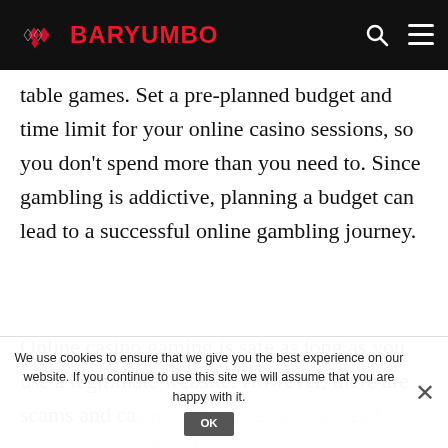BARYUMBO
table games. Set a pre-planned budget and time limit for your online casino sessions, so you don't spend more than you need to. Since gambling is addictive, planning a budget can lead to a successful online gambling journey.
Online casino gaming is safe as long as you use a legitimate website. However, there are scams and casinos out there, so you need to do your research before signing up with one. Be careful when choosing a site and set limits so you can stay safe while enjoying these games.
We use cookies to ensure that we give you the best experience on our website. If you continue to use this site we will assume that you are happy with it.